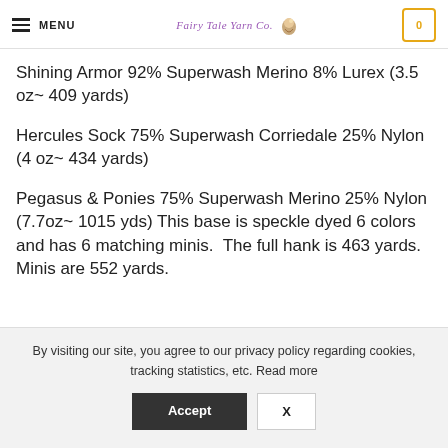MENU | Fairy Tale Yarn Co. | 0
Shining Armor 92% Superwash Merino 8% Lurex (3.5 oz~ 409 yards)
Hercules Sock 75% Superwash Corriedale 25% Nylon (4 oz~ 434 yards)
Pegasus & Ponies 75% Superwash Merino 25% Nylon (7.7oz~ 1015 yds) This base is speckle dyed 6 colors and has 6 matching minis.  The full hank is 463 yards.  Minis are 552 yards.
By visiting our site, you agree to our privacy policy regarding cookies, tracking statistics, etc. Read more